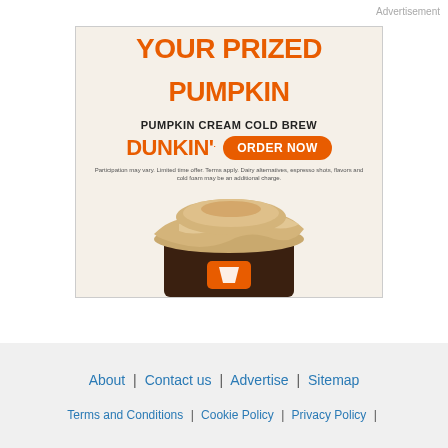Advertisement
[Figure (illustration): Dunkin' advertisement for Pumpkin Cream Cold Brew. Large orange bold text reads 'YOUR PRIZED PUMPKIN', subtitle 'PUMPKIN CREAM COLD BREW', Dunkin' logo and 'ORDER NOW' button. Fine print: 'Participation may vary. Limited time offer. Terms apply. Dairy alternatives, espresso shots, flavors and cold foam may be an additional charge.' Background shows a close-up photo of a cold brew coffee drink with pumpkin cream cold foam on top.]
About | Contact us | Advertise | Sitemap | Terms and Conditions | Cookie Policy | Privacy Policy |